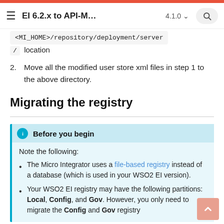EI 6.2.x to API-M... 4.1.0
<MI_HOME>/repository/deployment/server / location
2. Move all the modified user store xml files in step 1 to the above directory.
Migrating the registry
Before you begin
Note the following:
The Micro Integrator uses a file-based registry instead of a database (which is used in your WSO2 EI version).
Your WSO2 EI registry may have the following partitions: Local, Config, and Gov. However, you only need to migrate the Config and Gov registry